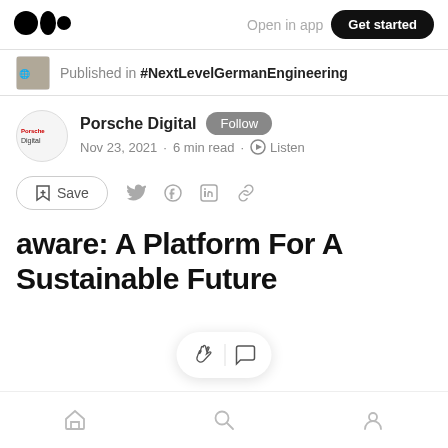Open in app | Get started
Published in #NextLevelGermanEngineering
Porsche Digital Follow
Nov 23, 2021 · 6 min read · Listen
Save
aware: A Platform For A Sustainable Future
...